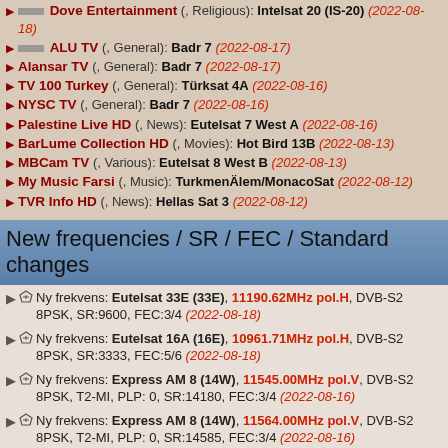Dove Entertainment (, Religious): Intelsat 20 (IS-20) 2022-08-18
ALU TV (, General): Badr 7 2022-08-17
Alansar TV (, General): Badr 7 2022-08-17
TV 100 Turkey (, General): Türksat 4A 2022-08-16
NYSC TV (, General): Badr 7 2022-08-16
Palestine Live HD (, News): Eutelsat 7 West A 2022-08-16
BarLume Collection HD (, Movies): Hot Bird 13B 2022-08-13
MBCam TV (, Various): Eutelsat 8 West B 2022-08-13
My Music Farsi (, Music): TurkmenÄlem/MonacoSat 2022-08-12
TVR Info HD (, News): Hellas Sat 3 2022-08-12
New frequencies / SR / FEC / Standard changes
Ny frekvens: Eutelsat 33E (33E), 11190.62MHz pol.H, DVB-S2 8PSK, SR:9600, FEC:3/4 2022-08-18
Ny frekvens: Eutelsat 16A (16E), 10961.71MHz pol.H, DVB-S2 8PSK, SR:3333, FEC:5/6 2022-08-18
Ny frekvens: Express AM 8 (14W), 11545.00MHz pol.V, DVB-S2 8PSK, T2-MI, PLP: 0, SR:14180, FEC:3/4 2022-08-16
Ny frekvens: Express AM 8 (14W), 11564.00MHz pol.V, DVB-S2 8PSK, T2-MI, PLP: 0, SR:14585, FEC:3/4 2022-08-16